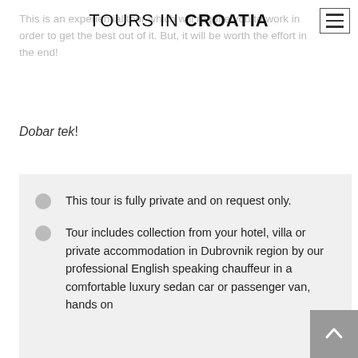TOURS IN CROATIA
This is an experiential tour which will require you to work in order to get the best out of it. But, it will be worth the effort in the end!
Dobar tek!
This tour is fully private and on request only.
Tour includes collection from your hotel, villa or private accommodation in Dubrovnik region by our professional English speaking chauffeur in a comfortable luxury sedan car or passenger van, hands on